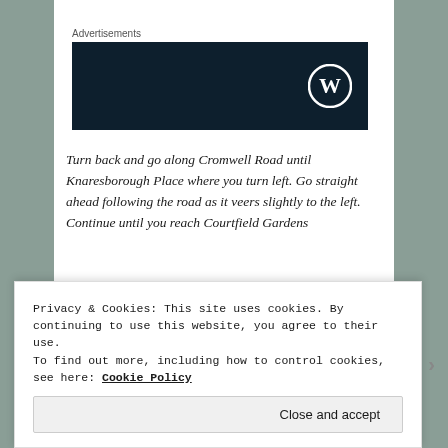Advertisements
[Figure (logo): Dark navy advertisement banner with WordPress logo (white circle with W) on the right side]
Turn back and go along Cromwell Road until Knaresborough Place where you turn left. Go straight ahead following the road as it veers slightly to the left. Continue until you reach Courtfield Gardens
Stop 7a: Courtfield Gardens
Privacy & Cookies: This site uses cookies. By continuing to use this website, you agree to their use.
To find out more, including how to control cookies, see here: Cookie Policy
Close and accept